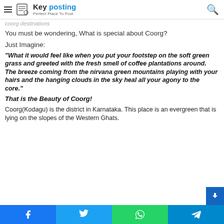Key posting – Perfect Place To Post
You must be wondering, What is special about Coorg?
Just Imagine:
“What it would feel like when you put your footstep on the soft green grass and greeted with the fresh smell of coffee plantations around. The breeze coming from the nirvana green mountains playing with your hairs and the hanging clouds in the sky heal all your agony to the core.”
That is the Beauty of Coorg!
Coorg(Kodagu) is the district in Karnataka. This place is an evergreen that is lying on the slopes of the Western Ghats.
Facebook | Twitter | WhatsApp | Telegram